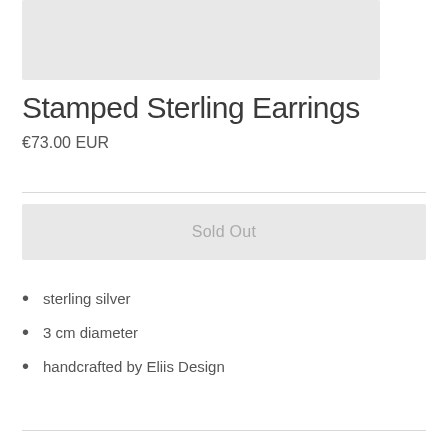[Figure (photo): Product photo of Stamped Sterling Earrings, light gray background]
Stamped Sterling Earrings
€73.00 EUR
Sold Out
sterling silver
3 cm diameter
handcrafted by Eliis Design